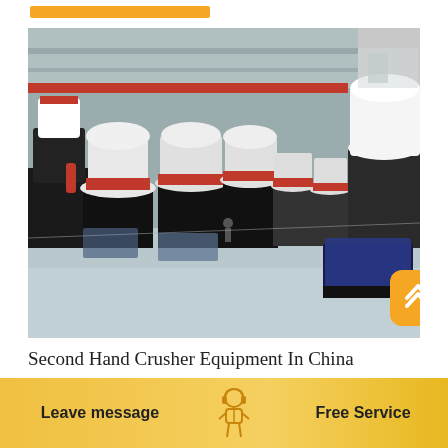[Figure (photo): Factory floor of a large industrial facility in China showing multiple cone crusher machines lined up in rows. The machines are white and red in color, arranged on a polished gray-blue concrete floor with a red overhead crane visible in the background under a high industrial ceiling.]
Second Hand Crusher Equipment In China
[Figure (infographic): Bottom bar with gradient yellow/gold background. Left section reads 'Leave message' in bold. Center has a small icon of a customer service person. Right section reads 'Free Service' in bold.]